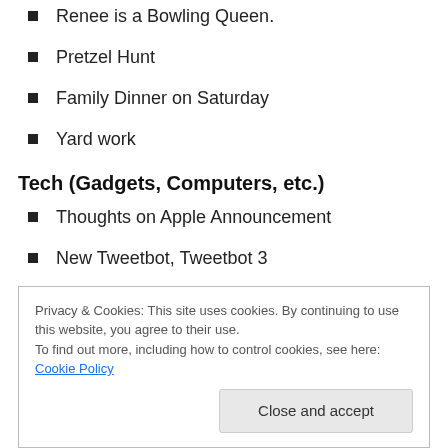Renee is a Bowling Queen.
Pretzel Hunt
Family Dinner on Saturday
Yard work
Tech (Gadgets, Computers, etc.)
Thoughts on Apple Announcement
New Tweetbot, Tweetbot 3
Privacy & Cookies: This site uses cookies. By continuing to use this website, you agree to their use.
To find out more, including how to control cookies, see here: Cookie Policy